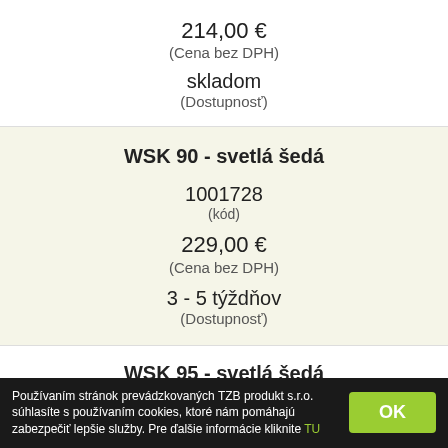214,00 €
(Cena bez DPH)
skladom
(Dostupnosť)
WSK 90 - svetlá šedá
1001728
(kód)
229,00 €
(Cena bez DPH)
3 - 5 týždňov
(Dostupnosť)
WSK 95 - svetlá šedá
1001729
(kód)
Používaním stránok prevádzkovaných TZB produkt s.r.o. súhlasíte s používaním cookies, ktoré nám pomáhajú zabezpečiť lepšie služby. Pre ďalšie informácie kliknite TU